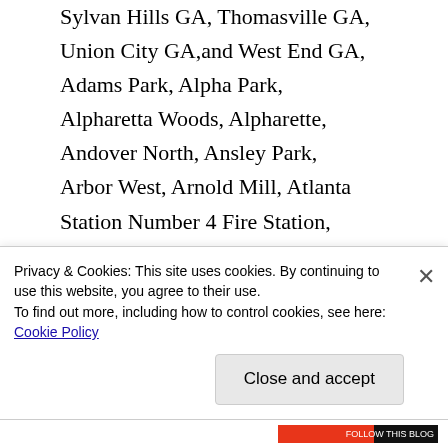Sylvan Hills GA, Thomasville GA, Union City GA,and West End GA, Adams Park, Alpha Park, Alpharetta Woods, Alpharette, Andover North, Ansley Park, Arbor West, Arnold Mill, Atlanta Station Number 4 Fire Station, Bankhead Courts, Battle Hill Haven, Bear Creek Estates, Beaver Creek, Bellwood, Bench Mark, Benton...
Privacy & Cookies: This site uses cookies. By continuing to use this website, you agree to their use.
To find out more, including how to control cookies, see here: Cookie Policy